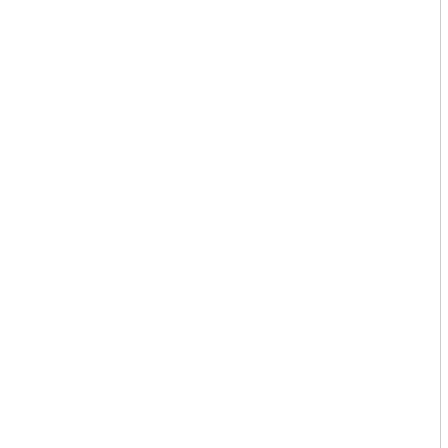ountry with the trunkboxes, when th